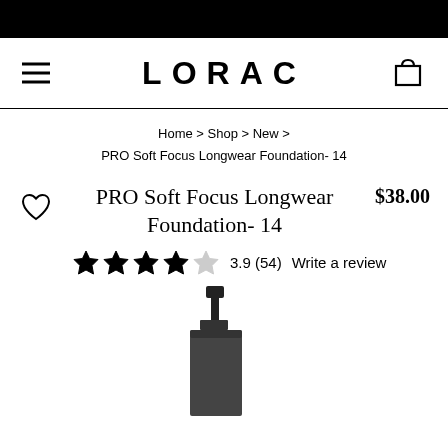LORAC
Home > Shop > New > PRO Soft Focus Longwear Foundation- 14
PRO Soft Focus Longwear Foundation- 14
$38.00
3.9 (54)  Write a review
[Figure (photo): Black pump bottle of LORAC PRO Soft Focus Longwear Foundation, partially visible at bottom of page]